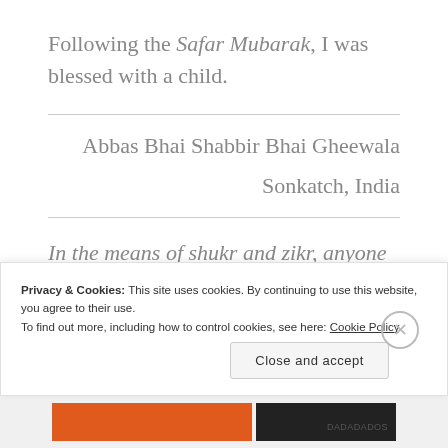Following the Safar Mubarak, I was blessed with a child.
Abbas Bhai Shabbir Bhai Gheewala
Sonkatch, India
In the means of shukr and zikr, anyone who is
Privacy & Cookies: This site uses cookies. By continuing to use this website, you agree to their use. To find out more, including how to control cookies, see here: Cookie Policy
Close and accept